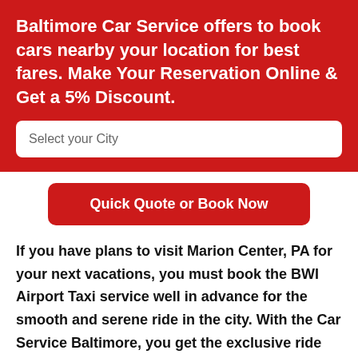Baltimore Car Service offers to book cars nearby your location for best fares. Make Your Reservation Online & Get a 5% Discount.
Select your City
Quick Quote or Book Now
If you have plans to visit Marion Center, PA for your next vacations, you must book the BWI Airport Taxi service well in advance for the smooth and serene ride in the city. With the Car Service Baltimore, you get the exclusive ride on the most extravaganza fleet to witness the delicacy of the town. The BWI Airport Shuttle is the most popular service provider